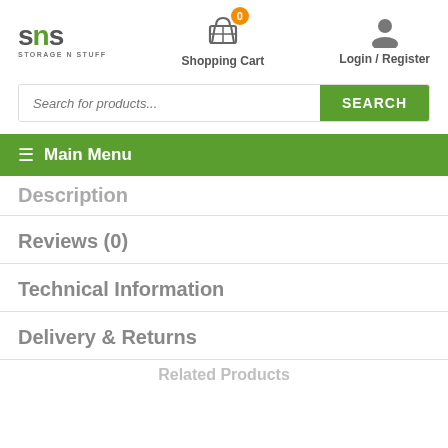[Figure (logo): SNS Storage N Stuff logo]
Shopping Cart
Login / Register
Search for products...
Main Menu
Description
Reviews (0)
Technical Information
Delivery & Returns
Related Products